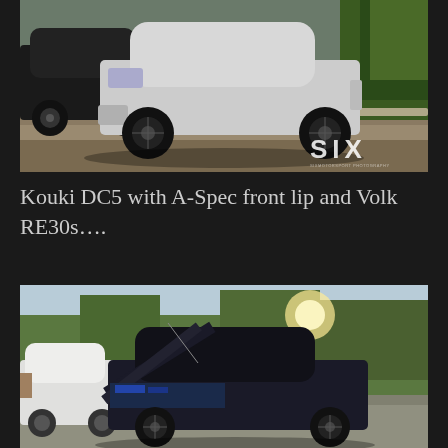[Figure (photo): A silver Acura RSX (DC5) Kouki with A-Spec front lip and Volk RE30 black wheels parked in a lot, with a black car visible behind it on the left and trees/bushes on the right. A 'SIX' watermark is visible in the lower right corner of the photo.]
Kouki DC5 with A-Spec front lip and Volk RE30s….
[Figure (photo): A dark-colored Honda/Acura with its hood open showing the engine bay, photographed at a car meet with trees in the background and a white car visible on the left. Bright sunlight comes through the trees.]